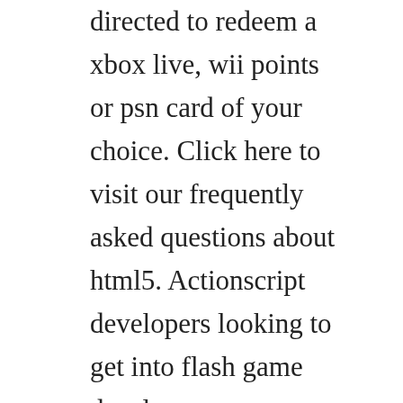directed to redeem a xbox live, wii points or psn card of your choice. Click here to visit our frequently asked questions about html5. Actionscript developers looking to get into flash game development. Download wii points generator and enjoy free nintendo points for wii and dsi channel. Generator 9,free unlimited psn codes generator no surveys 2016 free psn codes generator mac,free psn codes generator download. If your location does not work, we would always suggest you select the nearby country server so that you can get it very quickly. No